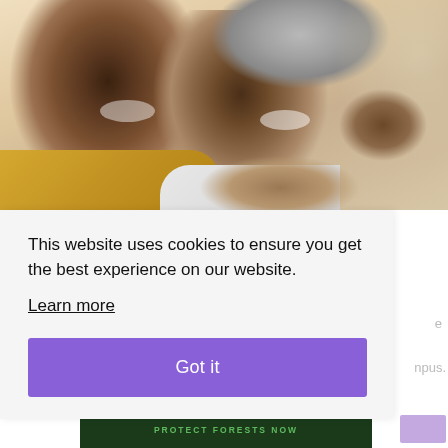[Figure (photo): Photo of an elderly Black couple smiling and embracing. The man on the left wears a yellow plaid shirt, the woman on the right has grey hair and wears a white top. They are leaning close together, both smiling warmly.]
This website uses cookies to ensure you get the best experience on our website.
Learn more
Got it